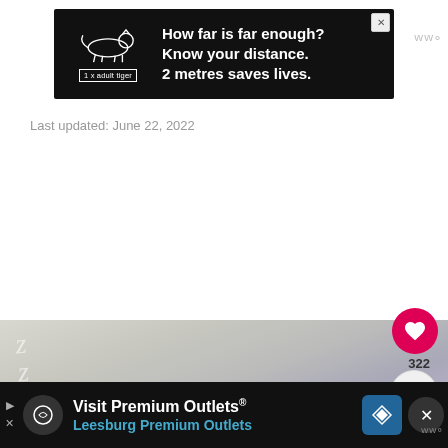[Figure (screenshot): Black advertisement banner: tiger outline graphic with '1 x adult tiger' label, text 'How far is far enough? Know your distance. 2 metres saves lives.' with close X button]
Last updated: June 22, 2022
[Figure (screenshot): Heart/like button (red circle with white heart icon), count 322, share button (grey circle with share icon)]
[Figure (photo): Photo of a purple/lavender stuffed animal bear on a grey background, partially visible]
[Figure (screenshot): What's Next widget: thumbnail of strawberry image, label 'WHAT'S NEXT' with arrow, title 'Strawberry Reusable...']
[Figure (screenshot): Black advertisement banner at bottom: 'Visit Premium Outlets® Leesburg Premium Outlets' with navigation diamond icon, close X button and mute icon]